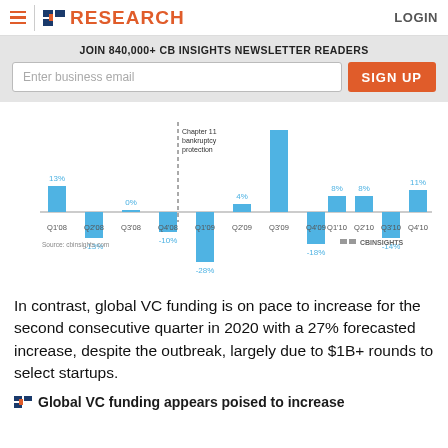CB INSIGHTS RESEARCH  LOGIN
JOIN 840,000+ CB INSIGHTS NEWSLETTER READERS
[Figure (bar-chart): Quarter-over-quarter change in VC funding (2008–2010)]
In contrast, global VC funding is on pace to increase for the second consecutive quarter in 2020 with a 27% forecasted increase, despite the outbreak, largely due to $1B+ rounds to select startups.
Global VC funding appears poised to increase